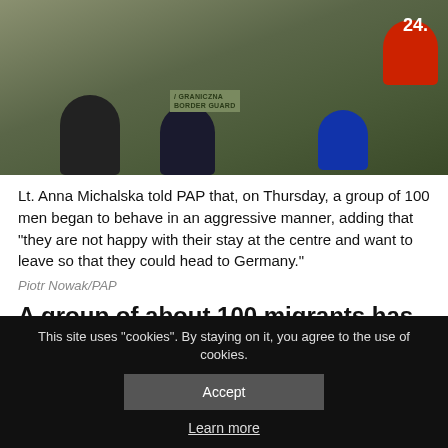[Figure (photo): A person in a military/border guard uniform (olive green) with a patch reading 'GRANICZNA BORDER GUARD', standing at a press conference with multiple microphones including a red one and a blue one, with a TV channel '24.' logo visible.]
Lt. Anna Michalska told PAP that, on Thursday, a group of 100 men began to behave in an aggressive manner, adding that "they are not happy with their stay at the centre and want to leave so that they could head to Germany."
Piotr Nowak/PAP
A group of about 100 migrants has torn down and destroyed a fence as well as broken windows at a
This site uses "cookies". By staying on it, you agree to the use of cookies.
Accept
Learn more